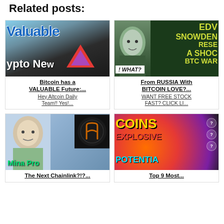Related posts:
[Figure (photo): Thumbnail image with blue 'Valuable' text and 'ypto Ne' crypto news banner with Arweave triangle logo on dark background]
Bitcoin has a VALUABLE Future:...
Hey Altcoin Daily Team!! Yes!...
[Figure (photo): Edward Snowden thumbnail with yellow text: EDW SNOWDEN RESE A SHOC BTC WAR and 'WHAT?' banner]
From RUSSIA With BITCOIN LOVE?...
WANT FREE STOCK FAST? CLICK LI...
[Figure (photo): Person with Mina Protocol logo on dark circular background with green Mina Pro text]
The Next Chainlink?!?...
[Figure (photo): Coins Explosive Potential thumbnail with yellow COINS text, red EXPLOSIVE text, cyan POTENTIAL text on fire/explosion background with question mark circles]